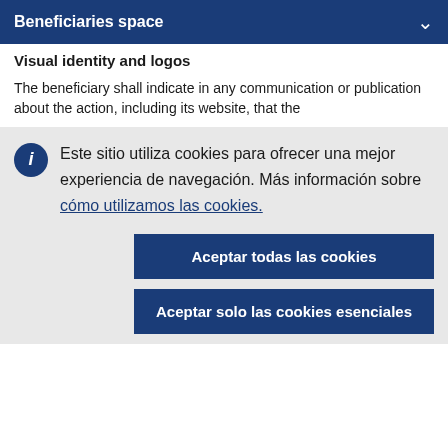Beneficiaries space
Visual identity and logos
The beneficiary shall indicate in any communication or publication about the action, including its website, that the
Este sitio utiliza cookies para ofrecer una mejor experiencia de navegación. Más información sobre cómo utilizamos las cookies.
Aceptar todas las cookies
Aceptar solo las cookies esenciales